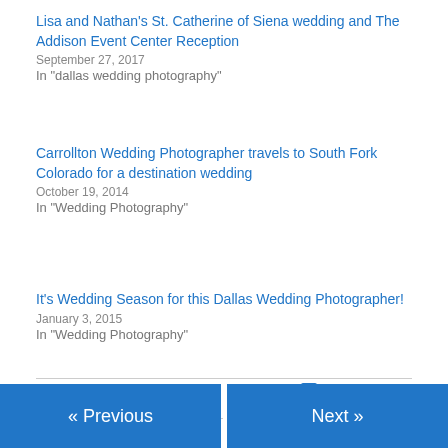Lisa and Nathan's St. Catherine of Siena wedding and The Addison Event Center Reception
September 27, 2017
In "dallas wedding photography"
Carrollton Wedding Photographer travels to South Fork Colorado for a destination wedding
October 19, 2014
In "Wedding Photography"
It's Wedding Season for this Dallas Wedding Photographer!
January 3, 2015
In "Wedding Photography"
August 25, 2012
Leave a Reply
« Previous
Next »